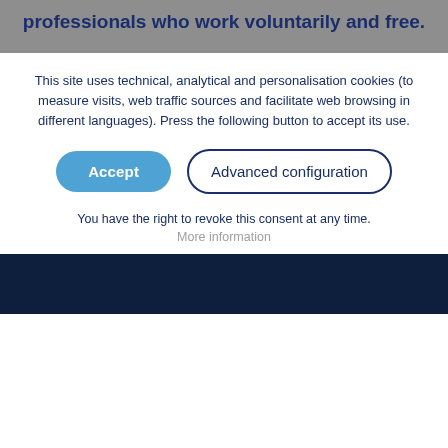professionals who work voluntarily and free.
This site uses technical, analytical and personalisation cookies (to measure visits, web traffic sources and facilitate web browsing in different languages). Press the following button to accept its use.
Accept
Advanced configuration
You have the right to revoke this consent at any time.
More information